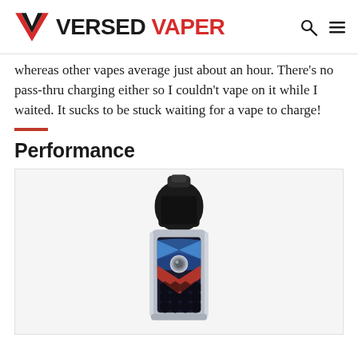VERSED VAPER
whereas other vapes average just about an hour. There's no pass-thru charging either so I couldn't vape on it while I waited. It sucks to be stuck waiting for a vape to charge!
Performance
[Figure (photo): A vape pod device with a decorative panel featuring a blue, red, and black geometric/scale pattern with a central circular button, shown upright against a white background.]